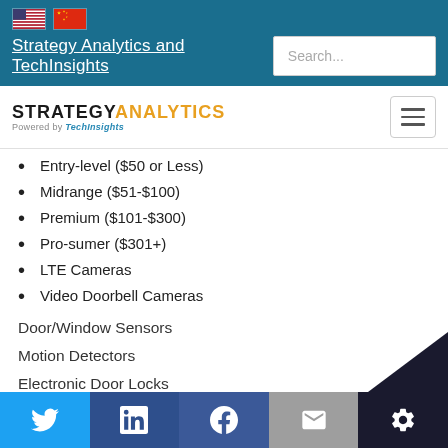Strategy Analytics and TechInsights | Search...
[Figure (logo): Strategy Analytics powered by TechInsights logo with hamburger menu]
Entry-level ($50 or Less)
Midrange ($51-$100)
Premium ($101-$300)
Pro-sumer ($301+)
LTE Cameras
Video Doorbell Cameras
Door/Window Sensors
Motion Detectors
Electronic Door Locks
Twitter | LinkedIn | Facebook | Email | Settings